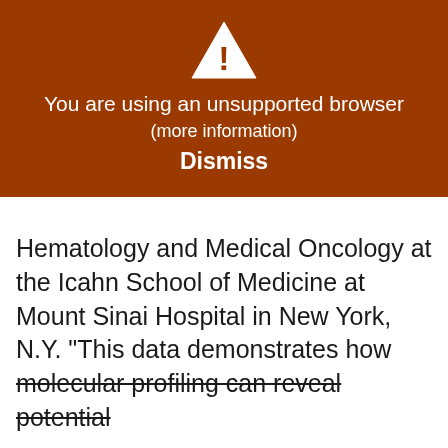[Figure (screenshot): Browser unsupported warning banner with white triangle warning icon on dark orange/brown background]
You are using an unsupported browser
(more information)
Dismiss
Hematology and Medical Oncology at the Icahn School of Medicine at Mount Sinai Hospital in New York, N.Y. “This data demonstrates how molecular profiling can reveal potential
We use cookies on our website to give you the most relevant experience by remembering your preferences and repeat visits. By clicking “Accept,” you consent to the use of all cookies.
Do not sell my personal information.
Cookie Settings
Accept